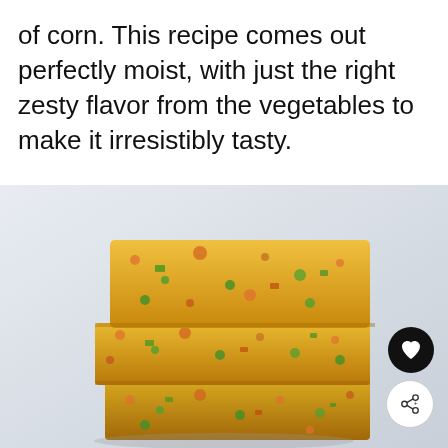of corn. This recipe comes out perfectly moist, with just the right zesty flavor from the vegetables to make it irresistibly tasty.
[Figure (photo): Stack of three square pieces of cornbread with visible colorful vegetable pieces (green, red, orange) inside, placed on a white surface with a light gray background. Two circular buttons (heart and share) are visible in the bottom-right corner.]